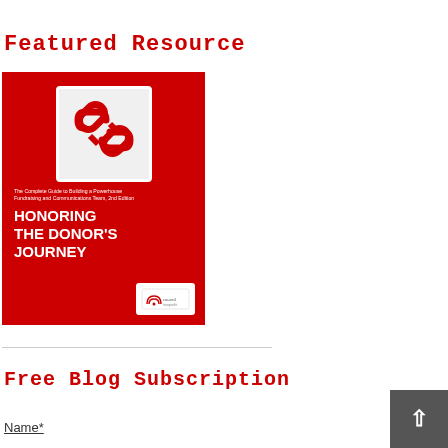Featured Resource
[Figure (illustration): Book cover for 'Honoring the Donor's Journey' — red background with chain link icon in white box, subtitle 'The Complete Guide to Building a Powerhouse Fundraising and Communications Team, 2nd Edition', and publisher badge at bottom right.]
Free Blog Subscription
Name*